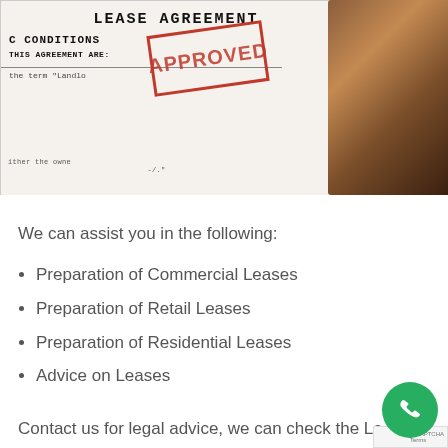[Figure (photo): Photo of a lease agreement document with an 'APPROVED' red stamp overlay, and a background of bread/food items on the right side. The document shows text including 'LEASE AGREEMENT', 'C CONDITIONS', 'THIS AGREEMENT ARE:', and fragments of lease text.]
We can assist you in the following:
Preparation of Commercial Leases
Preparation of Retail Leases
Preparation of Residential Leases
Advice on Leases
Contact us for legal advice, we can check the Le... thoroughly to make sure you fully understand... it all means, what you are committing yourself to